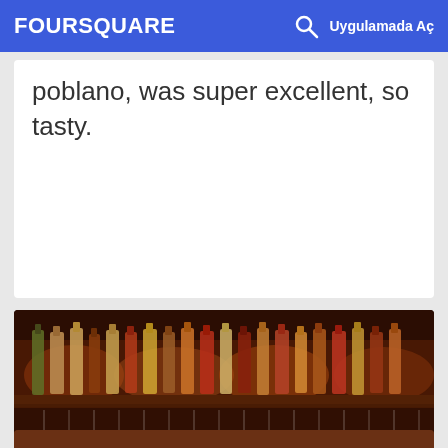FOURSQUARE  Uygulamada Aç
poblano, was super excellent, so tasty.
[Figure (photo): Bar shelves lined with many liquor bottles backlit with warm amber lighting, American Oak bar.]
13. American Oak
2319 Santa Clara Ave, Alameda, CA
Bar · East End · 25 tavsiye ve inceleme